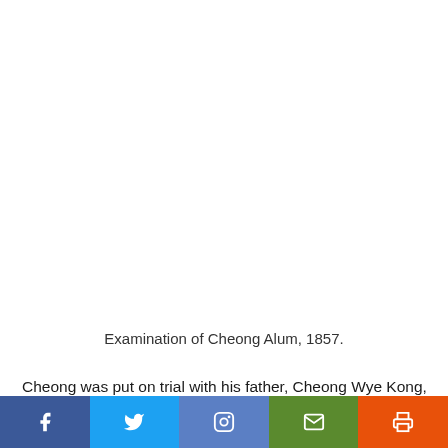Examination of Cheong Alum, 1857.
Cheong was put on trial with his father, Cheong Wye Kong, and eight others before a jury of six Europeans on a charge of administering poison with intent to kill. The prosecutor, Anstey, failed to establish a link between Cheong and the crime, or a motive: the 'flight' from Hong Kong had been